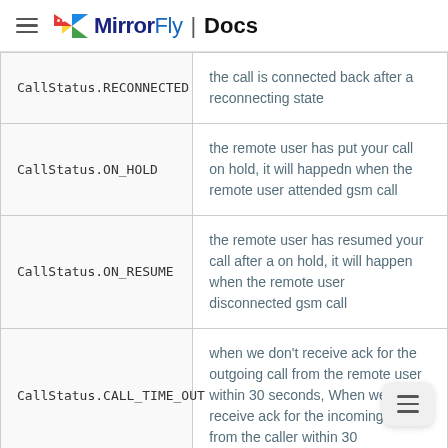MirrorFly | Docs
| Status | Description |
| --- | --- |
| CallStatus.RECONNECTED | the call is connected back after a reconnecting state |
| CallStatus.ON_HOLD | the remote user has put your call on hold, it will happedn when the remote user attended gsm call |
| CallStatus.ON_RESUME | the remote user has resumed your call after a on hold, it will happen when the remote user disconnected gsm call |
| CallStatus.CALL_TIME_OUT | when we don't receive ack for the outgoing call from the remote user within 30 seconds, When we don' receive ack for the incoming call from the caller within 30 |